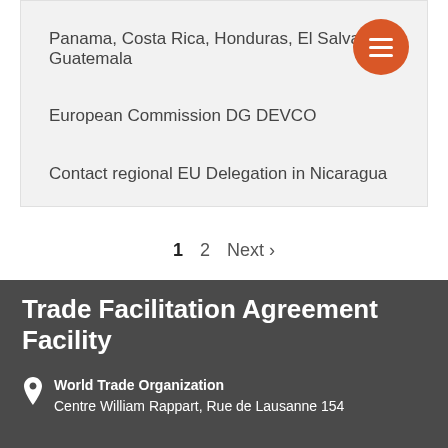Panama, Costa Rica, Honduras, El Salvador, Guatemala
European Commission DG DEVCO
Contact regional EU Delegation in Nicaragua
1  2  Next ›
Trade Facilitation Agreement Facility
World Trade Organization
Centre William Rappart, Rue de Lausanne 154